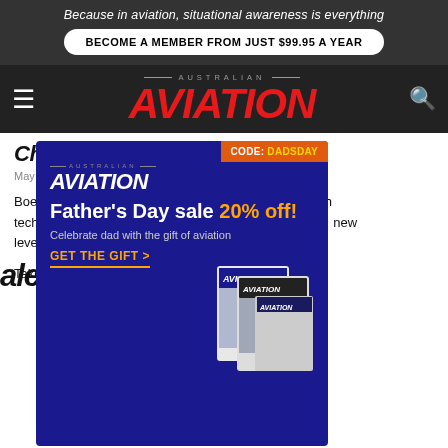Because in aviation, situational awareness is everything
BECOME A MEMBER FROM JUST $99.95 A YEAR
[Figure (logo): Australian AVIATION magazine logo in red italic bold font on dark nav bar]
Chris Yagio
May 23, 2012 at 3:00 pm
Boeing ... with techno... new level o...
Take n...
[Figure (advertisement): Australian Aviation Father's Day sale 20% off advertisement with CODE: DADSDAY badge, blue background, magazine images]
[Figure (advertisement): QinetiQ - Enabling critical UAS technologies advertisement with purple gradient background and drone imagery]
alexander lim